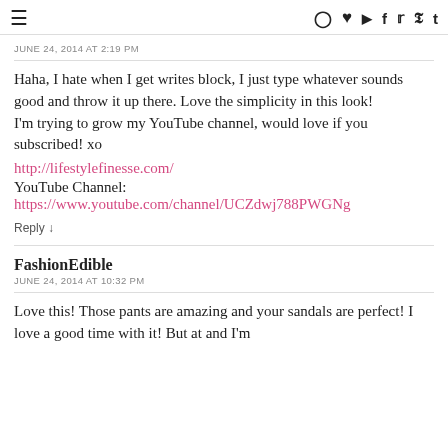≡  [social icons: instagram, heart, youtube, facebook, twitter, pinterest, t]
JUNE 24, 2014 AT 2:19 PM
Haha, I hate when I get writes block, I just type whatever sounds good and throw it up there. Love the simplicity in this look!
I'm trying to grow my YouTube channel, would love if you subscribed! xo
http://lifestylefinesse.com/
YouTube Channel:
https://www.youtube.com/channel/UCZdwj788PWGNg
Reply ↓
FashionEdible
JUNE 24, 2014 AT 10:32 PM
Love this! Those pants are amazing and your sandals are perfect! I love a good time with it! But at and I'm